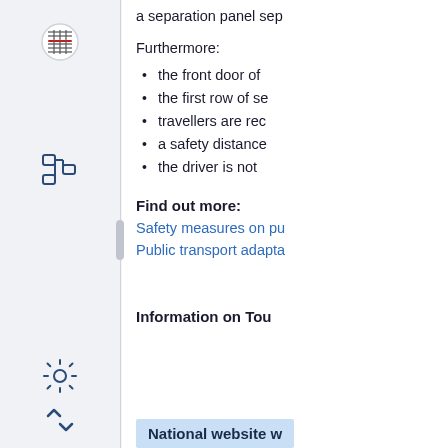a separation panel sep
Furthermore:
the front door of
the first row of se
travellers are rec
a safety distance
the driver is not
Find out more:
Safety measures on pu
Public transport adapta
Information on Tou
National website w